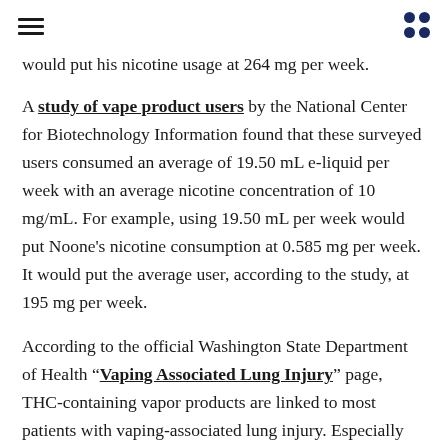≡ ⠿
would put his nicotine usage at 264 mg per week.
A study of vape product users by the National Center for Biotechnology Information found that these surveyed users consumed an average of 19.50 mL e-liquid per week with an average nicotine concentration of 10 mg/mL. For example, using 19.50 mL per week would put Noone's nicotine consumption at 0.585 mg per week. It would put the average user, according to the study, at 195 mg per week.
According to the official Washington State Department of Health "Vaping Associated Lung Injury" page, THC-containing vapor products are linked to most patients with vaping-associated lung injury. Especially those supplied by informal sources such as friends, family and in-person.